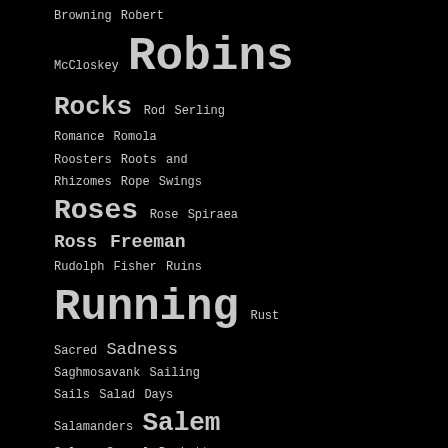Browning Robert McCloskey Robins Rocks Rod Serling Romance Romola Roosters Roots and Rhizomes Rope Swings Roses Rose Spiraea Ross Freeman Rudolph Fisher Ruins Running Rust Sacred Sadness Saghmosavank Sailing Sails Salad Days Salamanders Salem Salmon Samuel Beckett Samuel Taylor Coleridge Samvel Mkrtchyan Sancho Panza Sand Sandals Sand and Foam San Francisco Sanity Santa Fe Fairmonts Satire Satisfaction Saturn Scales Scars Scent